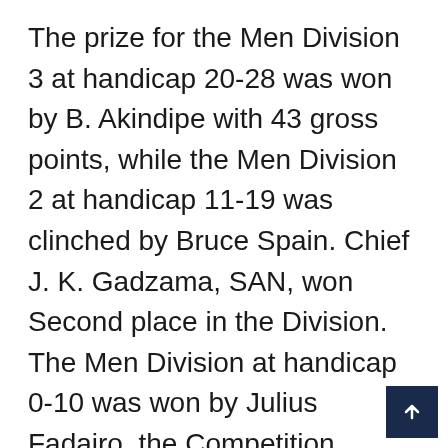The prize for the Men Division 3 at handicap 20-28 was won by B. Akindipe with 43 gross points, while the Men Division 2 at handicap 11-19 was clinched by Bruce Spain. Chief J. K. Gadzama, SAN, won Second place in the Division. The Men Division at handicap 0-10 was won by Julius Fadairo, the Competition Secretary of the club.
The highlight of the presentations was when Mr. Mutiu Sumonu, CON, the Chairman of Julius Berger Nigeria Plc, was assisted by the Club Captain, Mr. Sola Awoyungbo, to pres